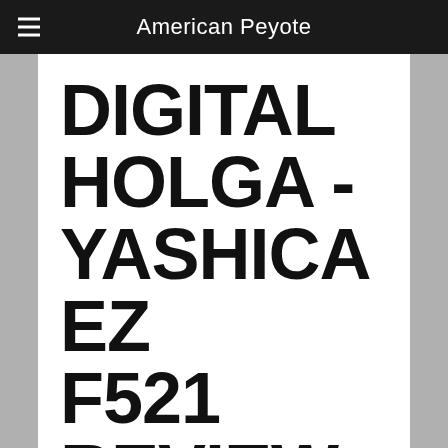American Peyote
DIGITAL HOLGA - YASHICA EZ F521 REVIEW
8 Nov '09   Yashica EZ F521   camera, Digital Holga, EZ F521, review, Yashica
Ya